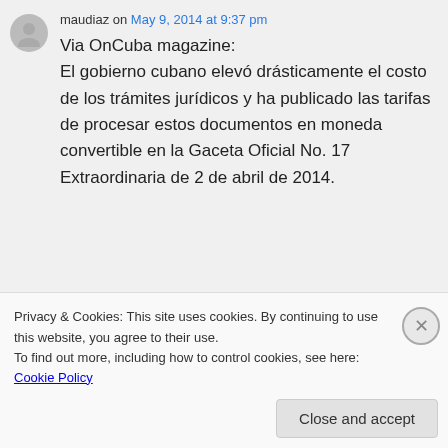maudiaz on May 9, 2014 at 9:37 pm
Via OnCuba magazine: El gobierno cubano elevó drásticamente el costo de los trámites jurídicos y ha publicado las tarifas de procesar estos documentos en moneda convertible en la Gaceta Oficial No. 17 Extraordinaria de 2 de abril de 2014.
Privacy & Cookies: This site uses cookies. By continuing to use this website, you agree to their use.
To find out more, including how to control cookies, see here: Cookie Policy
Close and accept